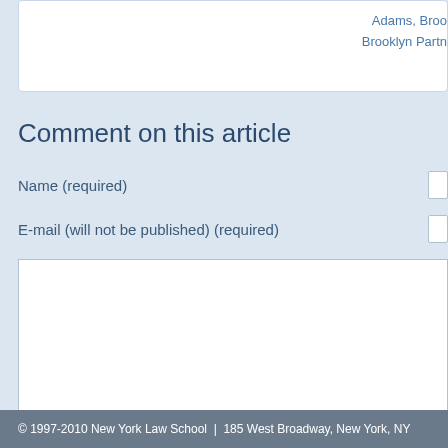Adams, Brook
Brooklyn Partners
Comment on this article
Name (required)
E-mail (will not be published) (required)
© 1997-2010 New York Law School | 185 West Broadway, New York, NY